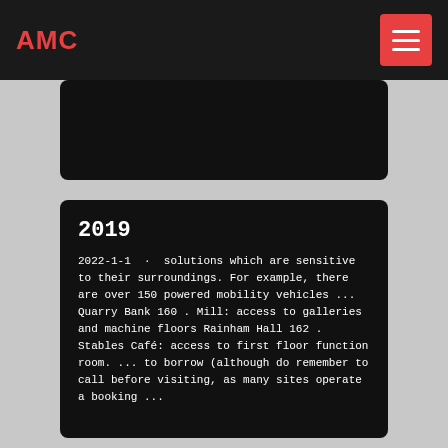AMC
2019
2022-1-1 · solutions which are sensitive to their surroundings. For example, there are over 150 powered mobility vehicles ... Quarry Bank 160 . Mill: access to galleries and machine floors Rainham Hall 162 . Stables Café: access to first floor function room. ... to borrow (although do remember to call before visiting, as many sites operate a booking ...